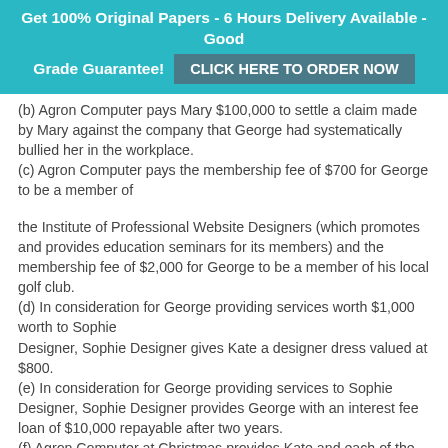Get 100% Original Papers - 6 Hours Delivery Available - Good Grade Guarantee! CLICK HERE TO ORDER NOW
(b) Agron Computer pays Mary $100,000 to settle a claim made by Mary against the company that George had systematically bullied her in the workplace.
(c) Agron Computer pays the membership fee of $700 for George to be a member of
the Institute of Professional Website Designers (which promotes and provides education seminars for its members) and the membership fee of $2,000 for George to be a member of his local golf club.
(d) In consideration for George providing services worth $1,000 worth to Sophie
Designer, Sophie Designer gives Kate a designer dress valued at $800.
(e) In consideration for George providing services to Sophie Designer, Sophie Designer provides George with an interest fee loan of $10,000 repayable after two years.
(f) Agron Computer at Christmas provides Kate and each of the pictures for the members with a gift